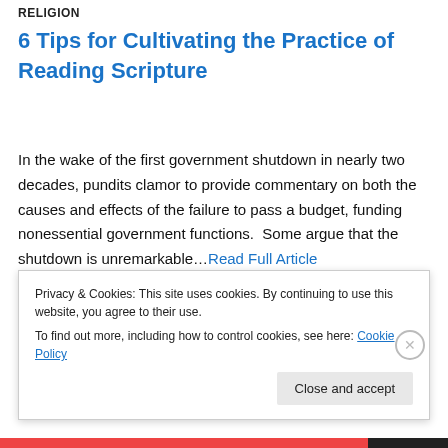RELIGION
6 Tips for Cultivating the Practice of Reading Scripture
In the wake of the first government shutdown in nearly two decades, pundits clamor to provide commentary on both the causes and effects of the failure to pass a budget, funding nonessential government functions.  Some argue that the shutdown is unremarkable…Read Full Article
Privacy & Cookies: This site uses cookies. By continuing to use this website, you agree to their use.
To find out more, including how to control cookies, see here: Cookie Policy
Close and accept